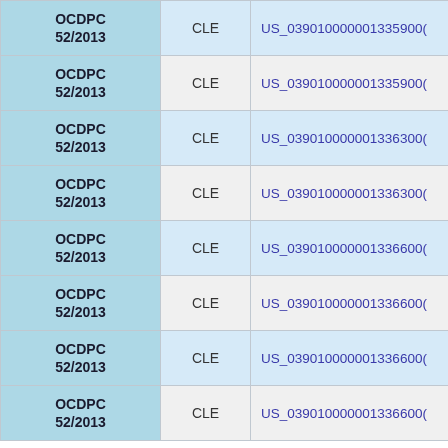| OCDPC 52/2013 | CLE | US_039010000001335900( |
| OCDPC 52/2013 | CLE | US_039010000001335900( |
| OCDPC 52/2013 | CLE | US_039010000001336300( |
| OCDPC 52/2013 | CLE | US_039010000001336300( |
| OCDPC 52/2013 | CLE | US_039010000001336600( |
| OCDPC 52/2013 | CLE | US_039010000001336600( |
| OCDPC 52/2013 | CLE | US_039010000001336600( |
| OCDPC 52/2013 | CLE | US_039010000001336600( |